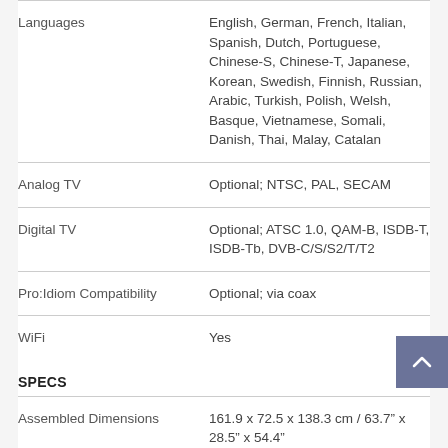| Feature | Detail |
| --- | --- |
| Languages | English, German, French, Italian, Spanish, Dutch, Portuguese, Chinese-S, Chinese-T, Japanese, Korean, Swedish, Finnish, Russian, Arabic, Turkish, Polish, Welsh, Basque, Vietnamese, Somali, Danish, Thai, Malay, Catalan |
| Analog TV | Optional; NTSC, PAL, SECAM |
| Digital TV | Optional; ATSC 1.0, QAM-B, ISDB-T, ISDB-Tb, DVB-C/S/S2/T/T2 |
| Pro:Idiom Compatibility | Optional; via coax |
| WiFi | Yes |
SPECS
| Feature | Detail |
| --- | --- |
| Assembled Dimensions | 161.9 x 72.5 x 138.3 cm / 63.7" x 28.5" x 54.4" |
| Assembled Weight | 74.5 kg / 164 lbs. |